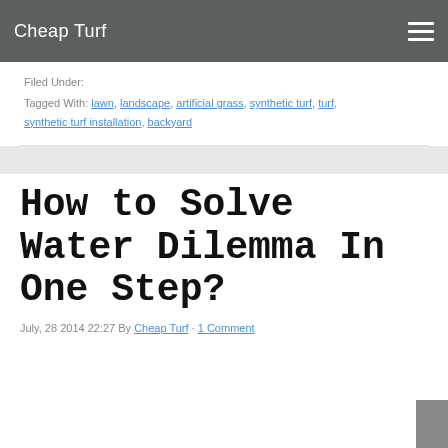Cheap Turf
Filed Under:
Tagged With: lawn, landscape, artificial grass, synthetic turf, turf, synthetic turf installation, backyard
How to Solve Water Dilemma In One Step?
July, 28 2014 22:27 By Cheap Turf · 1 Comment